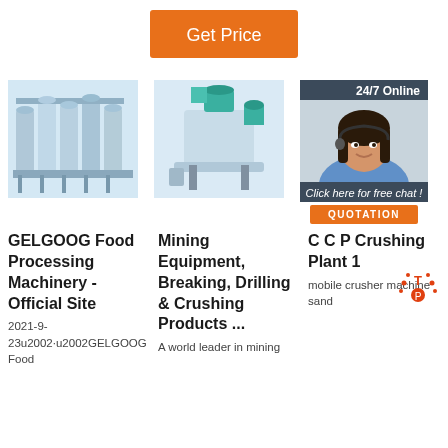[Figure (screenshot): Orange 'Get Price' button at top center of page]
[Figure (photo): Industrial food processing machinery with tanks and pipes]
[Figure (photo): Mining/milling equipment machine in teal/grey color]
[Figure (photo): 24/7 Online customer service chat widget with woman wearing headset, 'Click here for free chat!' and QUOTATION button]
GELGOOG Food Processing Machinery - Official Site
2021-9-23u2002·u2002GELGOOG Food
Mining Equipment, Breaking, Drilling & Crushing Products ...
A world leader in mining
C C P Crushing Plant 1
mobile crusher machine sand